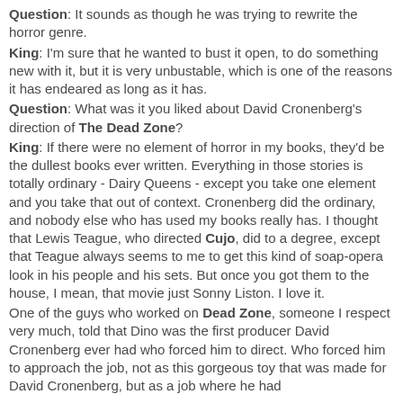Question: It sounds as though he was trying to rewrite the horror genre.
King: I'm sure that he wanted to bust it open, to do something new with it, but it is very unbustable, which is one of the reasons it has endeared as long as it has.
Question: What was it you liked about David Cronenberg's direction of The Dead Zone?
King: If there were no element of horror in my books, they'd be the dullest books ever written. Everything in those stories is totally ordinary - Dairy Queens - except you take one element and you take that out of context. Cronenberg did the ordinary, and nobody else who has used my books really has. I thought that Lewis Teague, who directed Cujo, did to a degree, except that Teague always seems to me to get this kind of soap-opera look in his people and his sets. But once you got them to the house, I mean, that movie just Sonny Liston. I love it.
One of the guys who worked on Dead Zone, someone I respect very much, told that Dino was the first producer David Cronenberg ever had who forced him to direct. Who forced him to approach the job, not as this gorgeous toy that was made for David Cronenberg, but as a job where he had